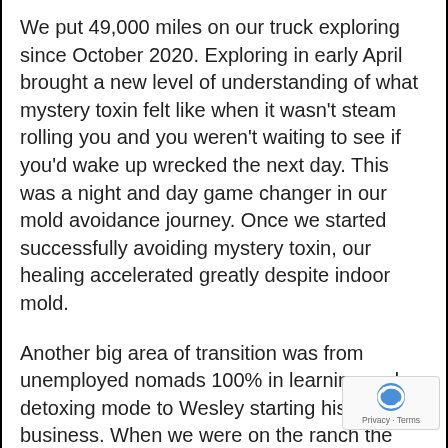We put 49,000 miles on our truck exploring since October 2020. Exploring in early April brought a new level of understanding of what mystery toxin felt like when it wasn't steam rolling you and you weren't waiting to see if you'd wake up wrecked the next day. This was a night and day game changer in our mold avoidance journey. Once we started successfully avoiding mystery toxin, our healing accelerated greatly despite indoor mold.
Another big area of transition was from unemployed nomads 100% in learning and detoxing mode to Wesley starting his business. When we were on the ranch the near daily meltdown was over the anxiety of not being able to provide for his family and running out of money. To say the least neither happened! In May, after learning mystery toxin's more subtle fe... Wesley bought his computer to start working. He applied for some projects on upwork, and his growth